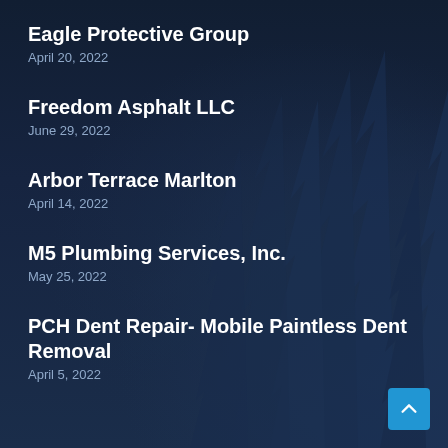Eagle Protective Group
April 20, 2022
Freedom Asphalt LLC
June 29, 2022
Arbor Terrace Marlton
April 14, 2022
M5 Plumbing Services, Inc.
May 25, 2022
PCH Dent Repair- Mobile Paintless Dent Removal
April 5, 2022